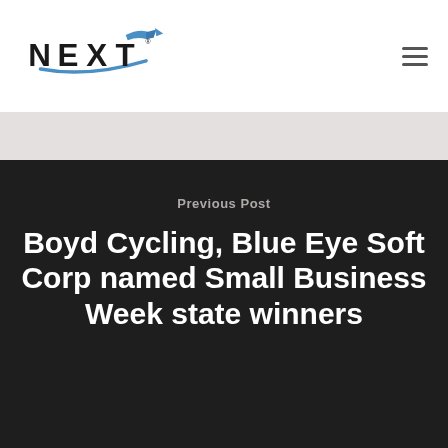[Figure (logo): NEXT company logo with bold black letters and blue arrow swoosh graphic]
Previous Post
Boyd Cycling, Blue Eye Soft Corp named Small Business Week state winners